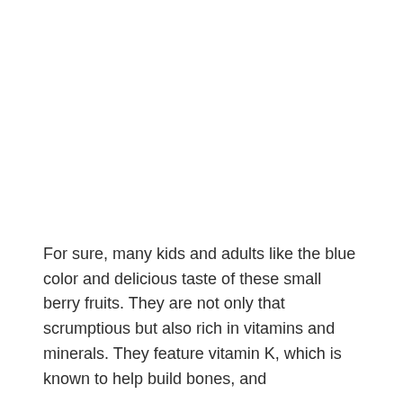For sure, many kids and adults like the blue color and delicious taste of these small berry fruits. They are not only that scrumptious but also rich in vitamins and minerals. They feature vitamin K, which is known to help build bones, and